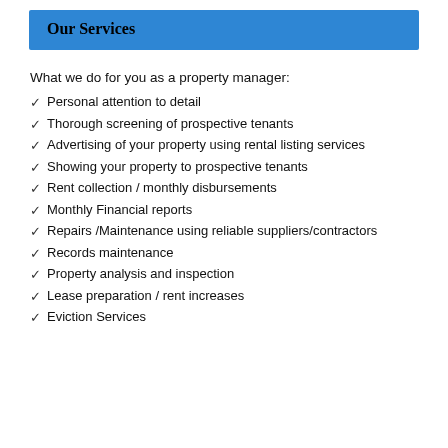Our Services
What we do for you as a property manager:
Personal attention to detail
Thorough screening of prospective tenants
Advertising of your property using rental listing services
Showing your property to prospective tenants
Rent collection / monthly disbursements
Monthly Financial reports
Repairs /Maintenance using reliable suppliers/contractors
Records maintenance
Property analysis and inspection
Lease preparation / rent increases
Eviction Services